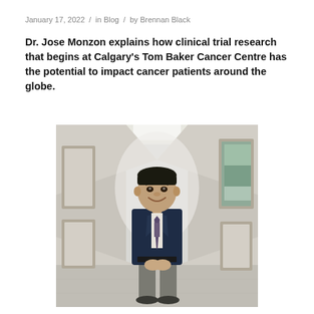January 17, 2022 / in Blog / by Brennan Black
Dr. Jose Monzon explains how clinical trial research that begins at Calgary's Tom Baker Cancer Centre has the potential to impact cancer patients around the globe.
[Figure (photo): Dr. Jose Monzon standing in a hospital corridor wearing a dark navy blazer and tie, with framed artwork on the walls behind him, smiling at the camera.]